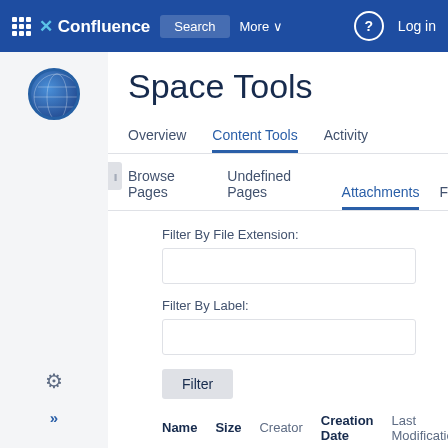Confluence | Search | More | Log in
Space Tools
Overview | Content Tools | Activity
Browse Pages | Undefined Pages | Attachments | F
Filter By File Extension:
Filter By Label:
Filter
| Name | Size | Creator | Creation Date | Last Modification | Label |
| --- | --- | --- | --- | --- | --- |